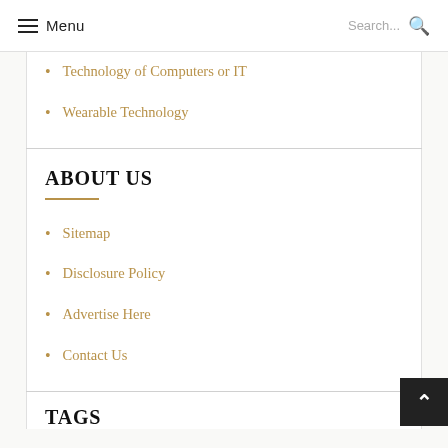Menu  Search...
Technology of Computers or IT
Wearable Technology
ABOUT US
Sitemap
Disclosure Policy
Advertise Here
Contact Us
TAGS